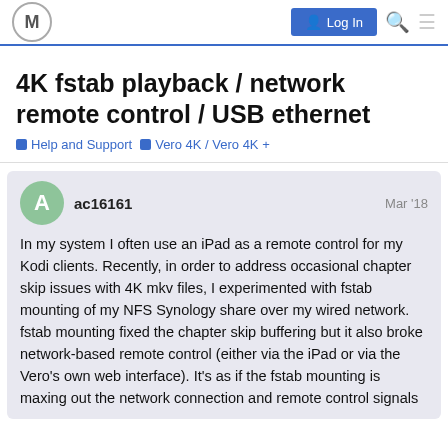M Log In
4K fstab playback / network remote control / USB ethernet
Help and Support   Vero 4K / Vero 4K +
ac16161   Mar '18
In my system I often use an iPad as a remote control for my Kodi clients. Recently, in order to address occasional chapter skip issues with 4K mkv files, I experimented with fstab mounting of my NFS Synology share over my wired network. fstab mounting fixed the chapter skip buffering but it also broke network-based remote control (either via the iPad or via the Vero's own web interface). It's as if the fstab mounting is maxing out the network connection and remote control signals are then not being sent — or they are sent but the...